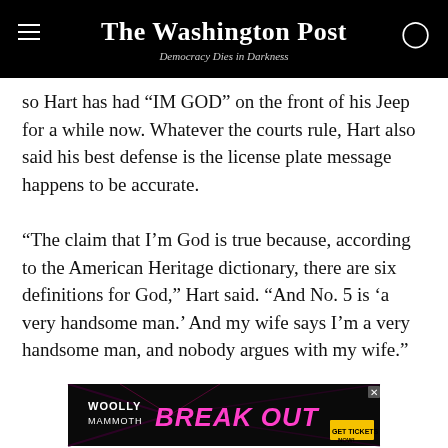The Washington Post — Democracy Dies in Darkness
so Hart has had “IM GOD” on the front of his Jeep for a while now. Whatever the courts rule, Hart also said his best defense is the license plate message happens to be accurate.
“The claim that I’m God is true because, according to the American Heritage dictionary, there are six definitions for God,” Hart said. “And No. 5 is ‘a very handsome man.’ And my wife says I’m a very handsome man, and nobody argues with my wife.”
Read more of Tripping:
[Figure (screenshot): Advertisement banner: Woolly Mammoth Theatre BREAK OUT, Get Tickets Now]